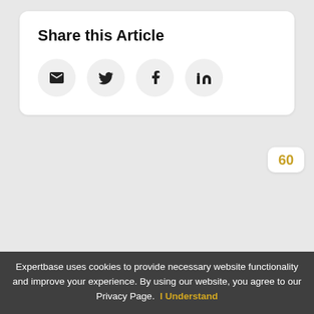Share this Article
[Figure (infographic): Four social sharing icon buttons: email (envelope), Twitter (bird), Facebook (f), LinkedIn (in)]
60
Most Clapped
[Figure (illustration): Clapping hands icon in gold/outline style]
Advantages And Challenges Of Exporting
By Tekle S.
Expertbase uses cookies to provide necessary website functionality and improve your experience. By using our website, you agree to our Privacy Page. I Understand